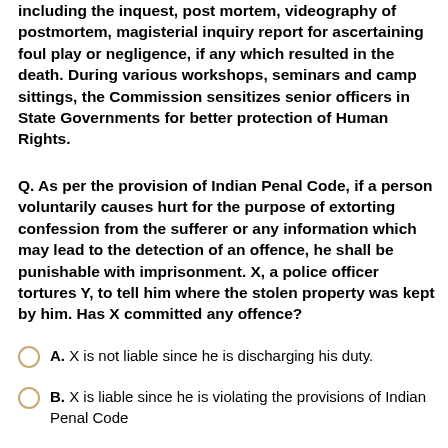including the inquest, post mortem, videography of postmortem, magisterial inquiry report for ascertaining foul play or negligence, if any which resulted in the death. During various workshops, seminars and camp sittings, the Commission sensitizes senior officers in State Governments for better protection of Human Rights.
Q. As per the provision of Indian Penal Code, if a person voluntarily causes hurt for the purpose of extorting confession from the sufferer or any information which may lead to the detection of an offence, he shall be punishable with imprisonment. X, a police officer tortures Y, to tell him where the stolen property was kept by him. Has X committed any offence?
A. X is not liable since he is discharging his duty.
B. X is liable since he is violating the provisions of Indian Penal Code